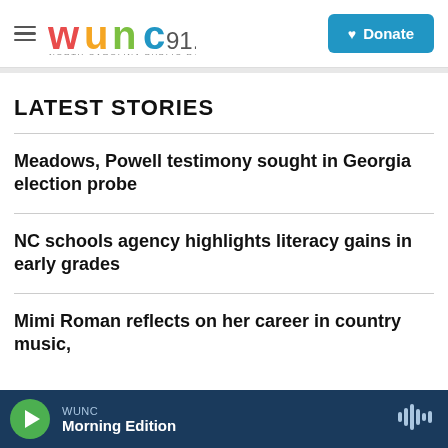WUNC 91.5 NORTH CAROLINA PUBLIC RADIO
LATEST STORIES
Meadows, Powell testimony sought in Georgia election probe
NC schools agency highlights literacy gains in early grades
Mimi Roman reflects on her career in country music,
WUNC Morning Edition